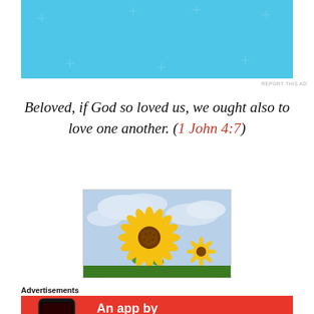[Figure (screenshot): Advertisement banner with light blue background showing text 'The only journaling app you'll ever need.' and a dark button 'Get the app' with star/sparkle decorations]
REPORT THIS AD
Beloved, if God so loved us, we ought also to love one another. (1 John 4:7)
[Figure (photo): Photo of sunflowers against a cloudy sky, with a large yellow sunflower in the foreground]
Advertisements
[Figure (screenshot): Red advertisement banner showing a smartphone with 'Dis' logo and text 'An app by listeners, for listeners']